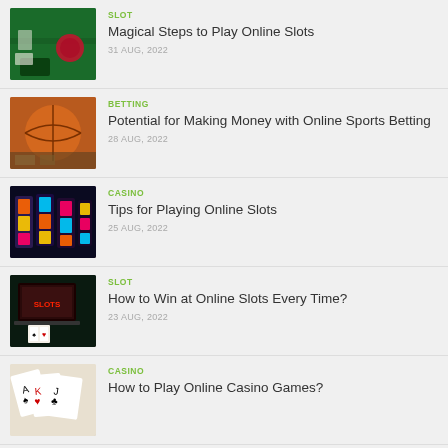SLOT | Magical Steps to Play Online Slots | 31 AUG, 2022
BETTING | Potential for Making Money with Online Sports Betting | 28 AUG, 2022
CASINO | Tips for Playing Online Slots | 25 AUG, 2022
SLOT | How to Win at Online Slots Every Time? | 23 AUG, 2022
CASINO | How to Play Online Casino Games?